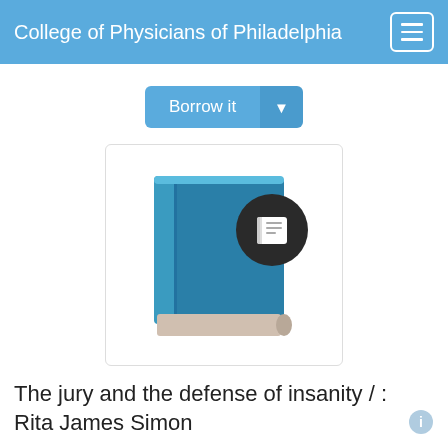College of Physicians of Philadelphia
Borrow it
[Figure (illustration): A stylized blue book icon with a dark circular badge showing a white book symbol, displayed on a white card with light border.]
The jury and the defense of insanity / : Rita James Simon
Creator
Simon, Rita James